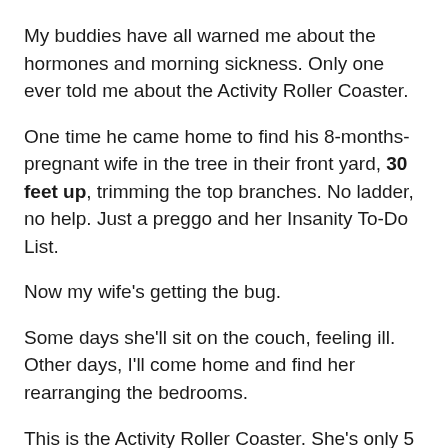My buddies have all warned me about the hormones and morning sickness. Only one ever told me about the Activity Roller Coaster.
One time he came home to find his 8-months-pregnant wife in the tree in their front yard, 30 feet up, trimming the top branches. No ladder, no help. Just a preggo and her Insanity To-Do List.
Now my wife's getting the bug.
Some days she'll sit on the couch, feeling ill. Other days, I'll come home and find her rearranging the bedrooms.
This is the Activity Roller Coaster. She's only 5 months along, so I'm afraid it's only going to get worse.
I imagine I'll come home one day to a three-ring circus and a petting zoo.
The crazy thing is she never asks for help with any of it. So